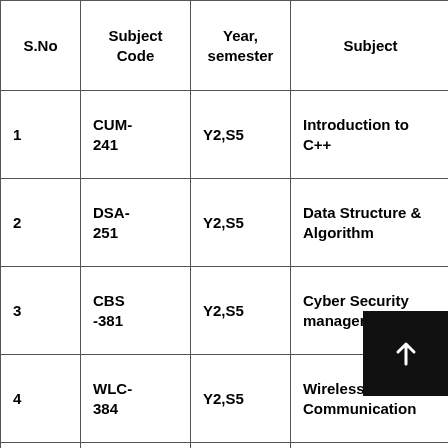| S.No | Subject Code | Year, semester | Subject | Component |
| --- | --- | --- | --- | --- |
| 1 | CUM-241 | Y2,S5 | Introduction to C++ | Core Mo... |
| 2 | DSA-251 | Y2,S5 | Data Structure & Algorithm | Core Mo... |
| 3 | CBS-381 | Y2,S5 | Cyber Security management | Concentr... |
| 4 | WLC-384 | Y2,S5 | Wireless Communication | ...ent |
|  |  |  |  |  |